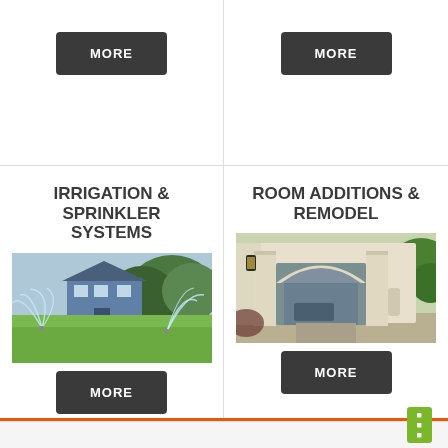[Figure (other): MORE button (dark grey rounded rectangle) in left column top area]
[Figure (other): MORE button (dark grey rounded rectangle) in right column top area]
IRRIGATION & SPRINKLER SYSTEMS
[Figure (photo): Photo of a house with lawn sprinklers spraying water, green grass, trees in background]
[Figure (other): MORE button (dark grey rounded rectangle) below irrigation image]
ROOM ADDITIONS & REMODEL
[Figure (photo): Photo of a white stone archway/patio room addition with lantern light fixture, outdoor seating area visible]
[Figure (other): MORE button (dark grey rounded rectangle) below room additions image]